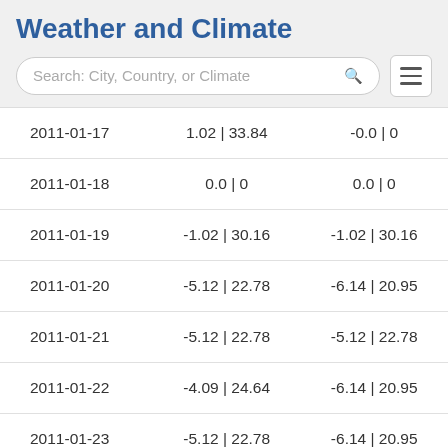Weather and Climate
| Date | Column2 | Column3 |
| --- | --- | --- |
| 2011-01-17 | 1.02 | 33.84 | -0.0 | 0 |
| 2011-01-18 | 0.0 | 0 | 0.0 | 0 |
| 2011-01-19 | -1.02 | 30.16 | -1.02 | 30.16 |
| 2011-01-20 | -5.12 | 22.78 | -6.14 | 20.95 |
| 2011-01-21 | -5.12 | 22.78 | -5.12 | 22.78 |
| 2011-01-22 | -4.09 | 24.64 | -6.14 | 20.95 |
| 2011-01-23 | -5.12 | 22.78 | -6.14 | 20.95 |